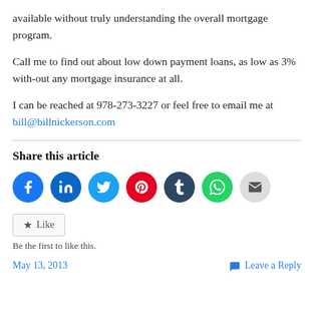available without truly understanding the overall mortgage program.
Call me to find out about low down payment loans, as low as 3% with-out any mortgage insurance at all.
I can be reached at 978-273-3227 or feel free to email me at bill@billnickerson.com
Share this article
[Figure (infographic): Social share icons: Facebook, LinkedIn, Twitter, Pinterest, Tumblr, WhatsApp, Email]
Like
Be the first to like this.
May 13, 2013    Leave a Reply